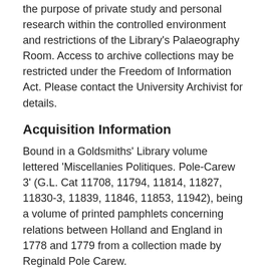the purpose of private study and personal research within the controlled environment and restrictions of the Library's Palaeography Room. Access to archive collections may be restricted under the Freedom of Information Act. Please contact the University Archivist for details.
Acquisition Information
Bound in a Goldsmiths' Library volume lettered 'Miscellanies Politiques. Pole-Carew 3' (G.L. Cat 11708, 11794, 11814, 11827, 11830-3, 11839, 11846, 11853, 11942), being a volume of printed pamphlets concerning relations between Holland and England in 1778 and 1779 from a collection made by Reginald Pole Carew.
Other Finding Aids